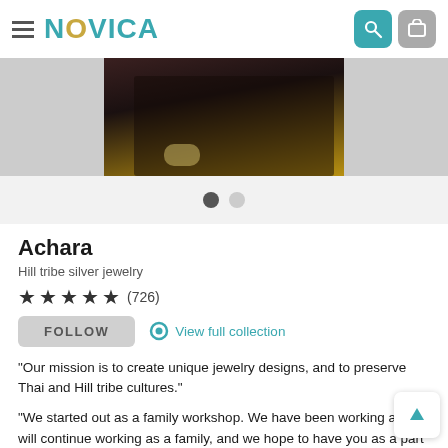NOVICA
[Figure (photo): Partial photo of a person's hand wearing a silver ring, against a dark background with gold accents — artist profile photo]
Achara
Hill tribe silver jewelry
★★★★★ (726)
FOLLOW   View full collection
"Our mission is to create unique jewelry designs, and to preserve Thai and Hill tribe cultures."
"We started out as a family workshop. We have been working and will continue working as a family, and we hope to have you as a part of our warm family... read more